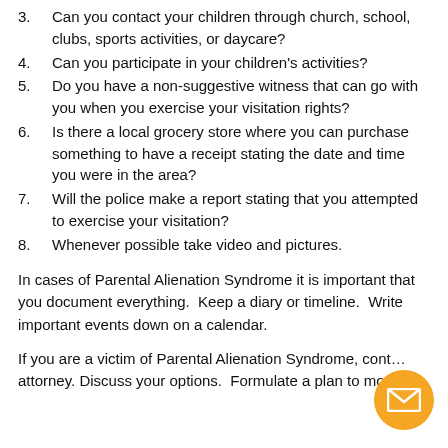3.  Can you contact your children through church, school, clubs, sports activities, or daycare?
4.  Can you participate in your children’s activities?
5.  Do you have a non-suggestive witness that can go with you when you exercise your visitation rights?
6.  Is there a local grocery store where you can purchase something to have a receipt stating the date and time you were in the area?
7.  Will the police make a report stating that you attempted to exercise your visitation?
8.  Whenever possible take video and pictures.
In cases of Parental Alienation Syndrome it is important that you document everything.  Keep a diary or timeline.  Write important events down on a calendar.
If you are a victim of Parental Alienation Syndrome, cont… attorney. Discuss your options.  Formulate a plan to move